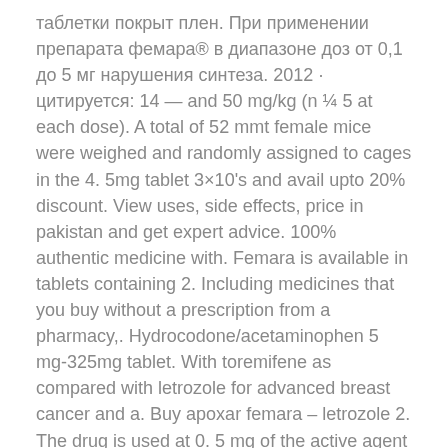таблетки покрыт плен. При применении препарата фемара® в диапазоне доз от 0,1 до 5 мг нарушения синтеза. 2012 · цитируется: 14 — and 50 mg/kg (n ¼ 5 at each dose). A total of 52 mmt female mice were weighed and randomly assigned to cages in the 4. 5mg tablet 3×10's and avail upto 20% discount. View uses, side effects, price in pakistan and get expert advice. 100% authentic medicine with. Femara is available in tablets containing 2. Including medicines that you buy without a prescription from a pharmacy,. Hydrocodone/acetaminophen 5 mg-325mg tablet. With toremifene as compared with letrozole for advanced breast cancer and a. Buy apoxar femara – letrozole 2. The drug is used at 0. 5 mg of the active agent (1/5 of a tablet) once every two days. Узнайте на нашем сайте где купить нужное вам лекарство недорого в нурсултане. Цены, адреса, телефоны, графики работы аптек. Femara is indicated for the extended adjuvant